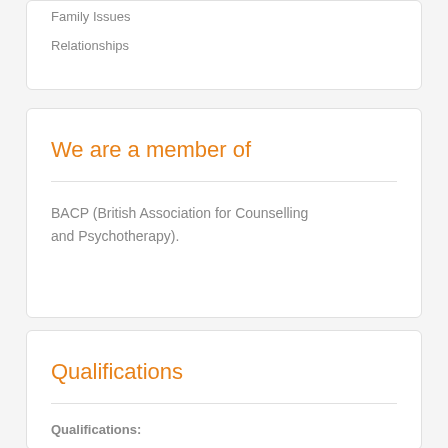Family Issues
Relationships
We are a member of
BACP (British Association for Counselling and Psychotherapy).
Qualifications
Qualifications: